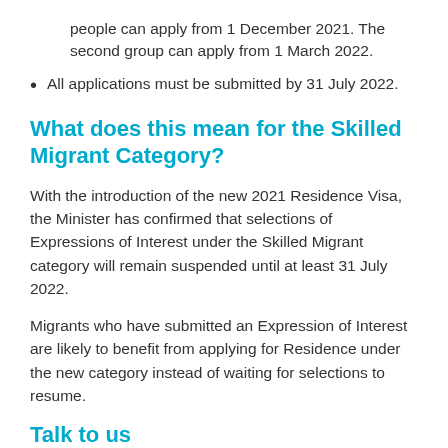people can apply from 1 December 2021. The second group can apply from 1 March 2022.
All applications must be submitted by 31 July 2022.
What does this mean for the Skilled Migrant Category?
With the introduction of the new 2021 Residence Visa, the Minister has confirmed that selections of Expressions of Interest under the Skilled Migrant category will remain suspended until at least 31 July 2022.
Migrants who have submitted an Expression of Interest are likely to benefit from applying for Residence under the new category instead of waiting for selections to resume.
Talk to us